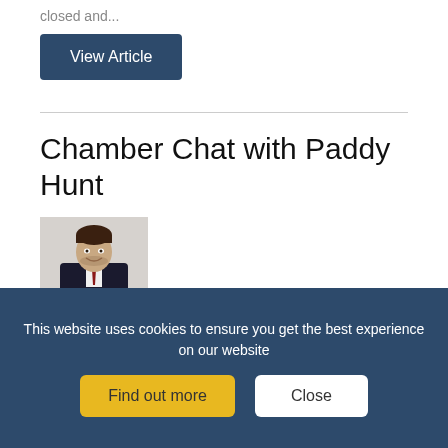closed and...
View Article
Chamber Chat with Paddy Hunt
[Figure (photo): Portrait photo of a man in a dark suit with a red tie, smiling, against a light background]
July 12, 2022
Tips for ensuring your business is covered with the right insurance. It can be hard to see the real-life
This website uses cookies to ensure you get the best experience on our website
Find out more
Close